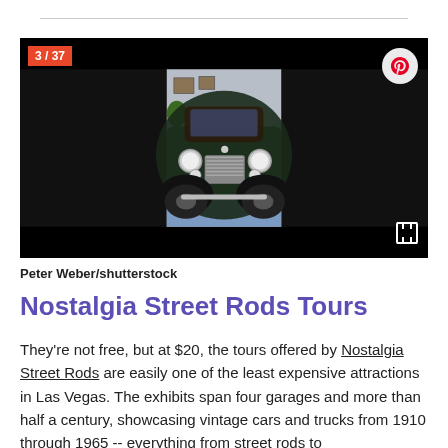[Figure (photo): Vintage dark green/black classic car (1930s style) photographed from the front in an indoor showroom with blue carpet and framed pictures on the wall. Badge reads '3 / 37'. Pinterest and fullscreen icons visible.]
Peter Weber/shutterstock
Nostalgia Street Rods Tours
They're not free, but at $20, the tours offered by Nostalgia Street Rods are easily one of the least expensive attractions in Las Vegas. The exhibits span four garages and more than half a century, showcasing vintage cars and trucks from 1910 through 1965 -- everything from street rods to